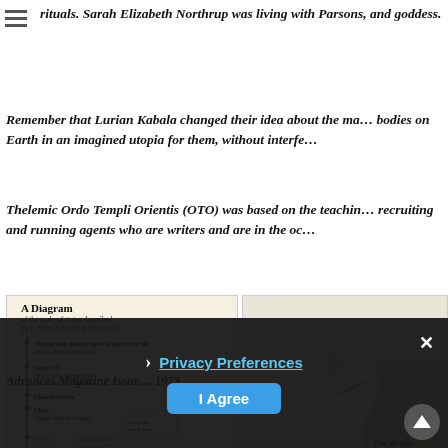rituals. Sarah Elizabeth Northrup was living with Parsons, and ... goddess.
Remember that Lurian Kabala changed their idea about the ma... bodies on Earth in an imagined utopia for them, without interfe...
Thelemic Ordo Templi Orientis (OTO) was based on the teachin... recruiting and running agents who are writers and are in the oc...
[Figure (infographic): A Diagram of the scale of states described by L. Ron Hubbard in his article, showing levels from Thetan who doesn't have to operate at all (not in physical universe) down through Clear OT, Clear Exterior, Clear, with lower states including Preclear, Thetan Exterior, Condition OT, HumanMind, Person who's sanity etc.]
[Figure (illustration): Illustration of an angel figure with wings pointing, standing near arches. Text reads 'The Bridge Your Step to Clear & OT'. Caption references 'Advance! Magazine Issue 22, 1973'.]
Advance! Magazine Issue ... 1973